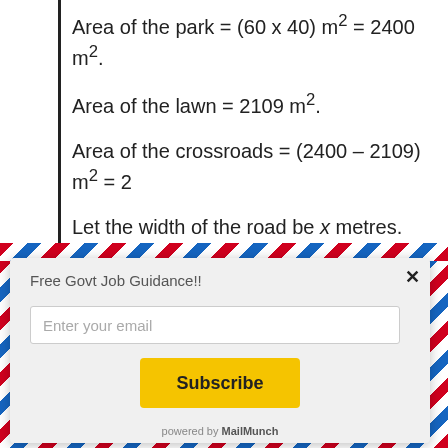Let the width of the road be x metres. Then,
[Figure (screenshot): Email subscription modal popup with airmail diagonal stripe border. Contains title 'Free Govt Job Guidance!!', email input field, Subscribe button, and 'powered by MailMunch' footer.]